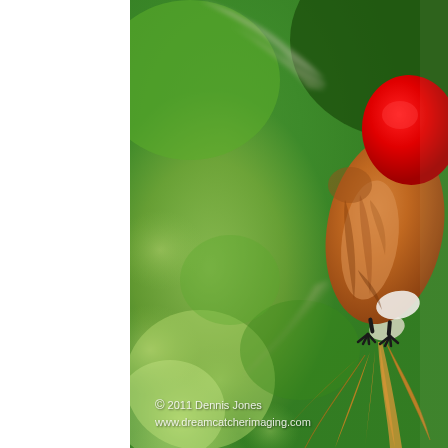[Figure (photo): Close-up wildlife photograph of a hummingbird in flight against a blurred green bokeh background. The bird has a vivid red head/cap, orange-brown body plumage, spreading orange/golden tail feathers, and small dark feet visible. Wings are motion-blurred. Right two-thirds of the page. Left portion is white margin.]
© 2011 Dennis Jones
www.dreamcatcherimaging.com